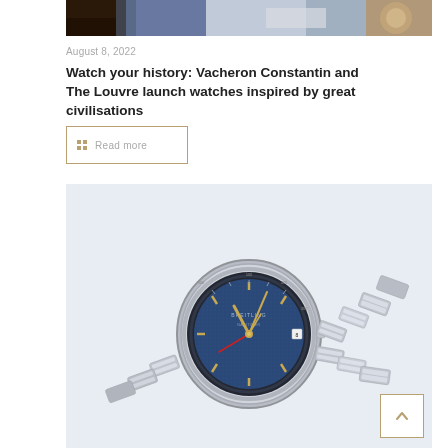[Figure (photo): Partial top image strip showing watches and decorative items in warm and cool tones]
August 8, 2022
Watch your history: Vacheron Constantin and The Louvre launch watches inspired by great civilisations
Read more
[Figure (photo): A silver stainless steel watch with blue dial and bracelet on light blue background — appears to be a Breitling Navitimer]